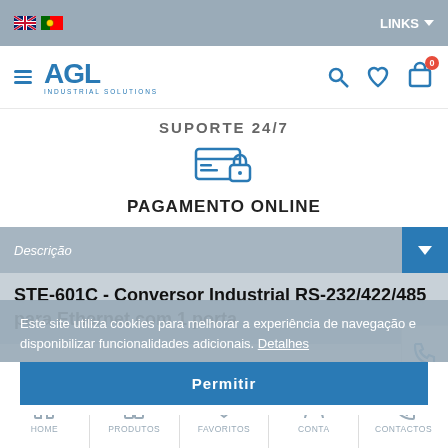LINKS
[Figure (logo): AGL Industrial Solutions logo with hamburger menu]
SUPORTE 24/7
[Figure (illustration): Payment card with lock icon]
PAGAMENTO ONLINE
Descrição
STE-601C - Conversor Industrial RS-232/422/485 para Ethernet com 1 porta
Este site utiliza cookies para melhorar a experiência de navegação e disponibilizar funcionalidades adicionais. Detalhes
Permitir
HOME   PRODUTOS   FAVORITOS   CONTA   CONTACTOS